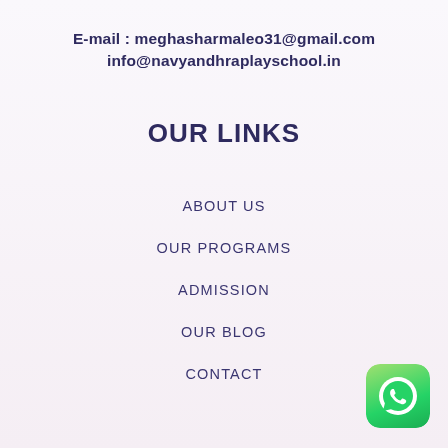E-mail : meghasharmaleo31@gmail.com
info@navyandhraplayschool.in
OUR LINKS
ABOUT US
OUR PROGRAMS
ADMISSION
OUR BLOG
CONTACT
[Figure (logo): WhatsApp icon — green rounded square with white phone handset graphic]